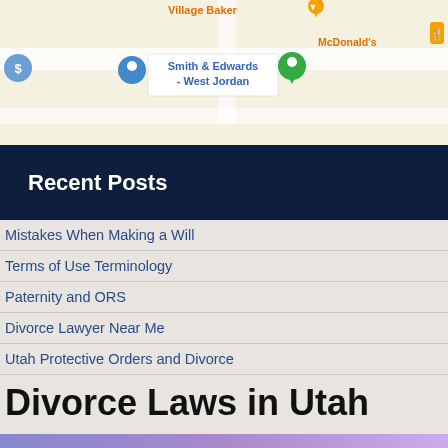[Figure (map): Google Maps screenshot showing Smith & Edwards - West Jordan location, with Village Baker and McDonald's nearby.]
Recent Posts
Mistakes When Making a Will
Terms of Use Terminology
Paternity and ORS
Divorce Lawyer Near Me
Utah Protective Orders and Divorce
Payable on Death Beneficiary For Accounts
Divorce Laws in Utah